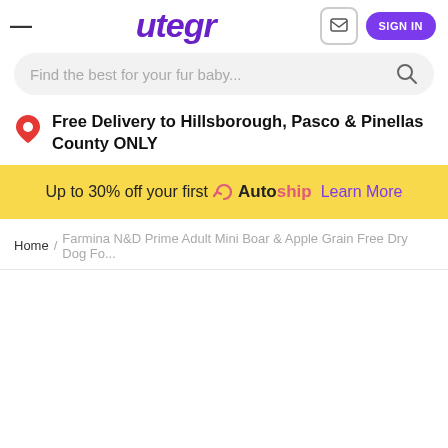utegi — hamburger menu, logo, cart, sign in
Find the best for your fur baby...
Free Delivery to Hillsborough, Pasco & Pinellas County ONLY
Up to 30% off your first Autoship Learn More
Home / Farmina N&D Prime Adult Mini Boar & Apple Grain Free Dry Dog Fo...